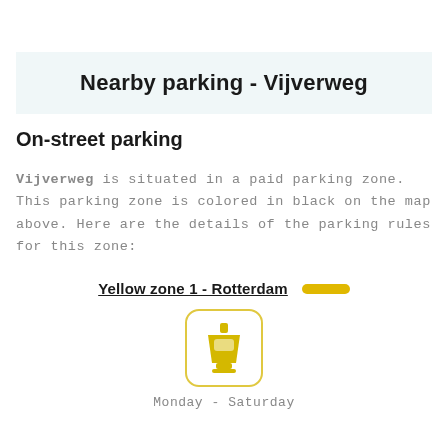Nearby parking - Vijverweg
On-street parking
Vijverweg is situated in a paid parking zone. This parking zone is colored in black on the map above. Here are the details of the parking rules for this zone:
Yellow zone 1 - Rotterdam
[Figure (logo): Yellow parking meter icon inside a rounded square border in yellow]
Monday - Saturday